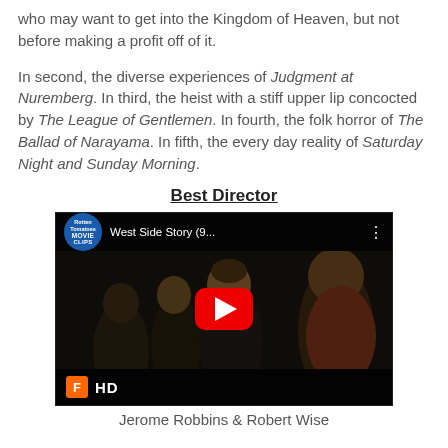who may want to get into the Kingdom of Heaven, but not before making a profit off of it.
In second, the diverse experiences of Judgment at Nuremberg. In third, the heist with a stiff upper lip concocted by The League of Gentlemen. In fourth, the folk horror of The Ballad of Narayama. In fifth, the every day reality of Saturday Night and Sunday Morning.
Best Director
[Figure (screenshot): YouTube video thumbnail showing West Side Story (9... with Rotten Tomatoes Movie Clips branding, play button, and HD label. Scene shows young men in dim lighting.]
Jerome Robbins & Robert Wise